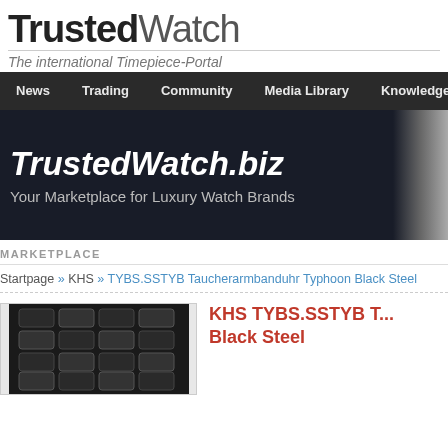TrustedWatch — The international Timepiece-Portal
[Figure (logo): TrustedWatch logo with tagline 'The international Timepiece-Portal']
[Figure (infographic): TrustedWatch.biz banner: 'TrustedWatch.biz — Your Marketplace for Luxury Watch Brands']
MARKETPLACE
Startpage » KHS » TYBS.SSTYB Taucherarmbanduhr Typhoon Black Steel
KHS TYBS.SSTYB T... Black Steel
[Figure (photo): Photo of KHS TYBS.SSTYB Typhoon Black Steel watch strap/bracelet]